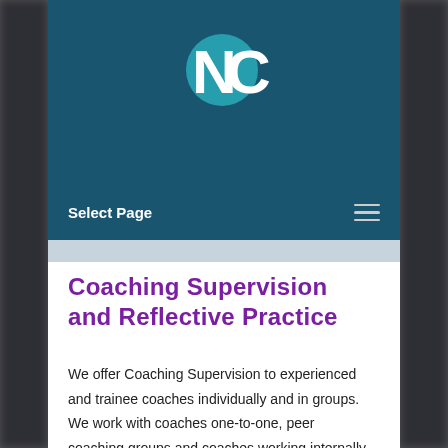[Figure (logo): NCC logo — stylized letters N and C in white and teal on dark teal background]
Select Page
Coaching Supervision and Reflective Practice
We offer Coaching Supervision to experienced and trainee coaches individually and in groups. We work with coaches one-to-one, peer coaching groups and coaches working internally